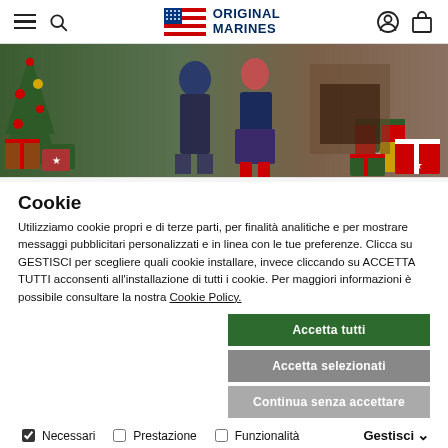[Figure (screenshot): Original Marines website header with hamburger menu, search icon, logo (US flag icon + ORIGINAL MARINES text), user account icon, and shopping bag icon]
[Figure (photo): Christmas-themed fashion photo showing two children in front of a decorated Christmas tree, with gift boxes. The children wear tartan/plaid outfits including a boy in checkered pants and a girl in a navy cardigan with a red skirt.]
Cookie
Utilizziamo cookie propri e di terze parti, per finalità analitiche e per mostrare messaggi pubblicitari personalizzati e in linea con le tue preferenze. Clicca su GESTISCI per scegliere quali cookie installare, invece cliccando su ACCETTA TUTTI acconsenti all'installazione di tutti i cookie. Per maggiori informazioni è possibile consultare la nostra Cookie Policy.
Accetta tutti
Accetta selezionati
Continua senza accettare
Necessari  Prestazione  Funzionalità  Pubblicità  Gestisci